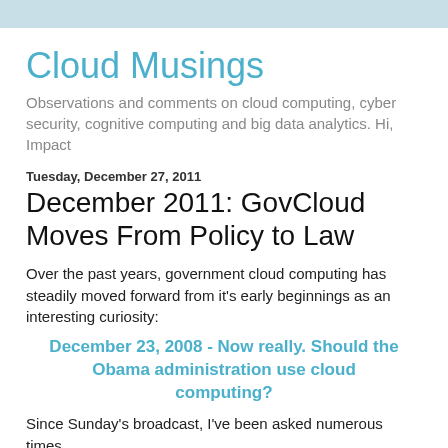Cloud Musings
Observations and comments on cloud computing, cyber security, cognitive computing and big data analytics. Hi, Impact
Tuesday, December 27, 2011
December 2011: GovCloud Moves From Policy to Law
Over the past years, government cloud computing has steadily moved forward from it's early beginnings as an interesting curiosity:
December 23, 2008 - Now really. Should the Obama administration use cloud computing?
Since Sunday's broadcast, I've been asked numerous times